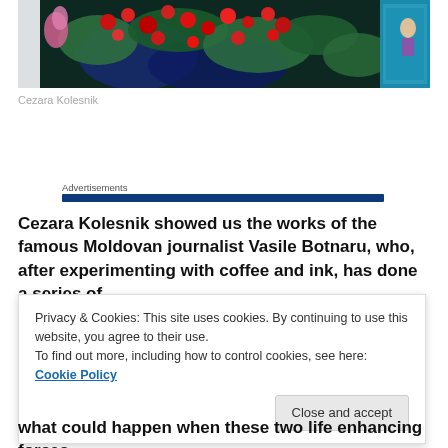[Figure (photo): Colorful floral painting with red flowers on dark background, displayed on a wall. White wall visible on left, teal/blue door visible on right edge.]
Cezara Kolesnik
Advertisements
Cezara Kolesnik showed us the works of the famous Moldovan journalist Vasile Botnaru, who, after experimenting with coffee and ink, has done a series of
Privacy & Cookies: This site uses cookies. By continuing to use this website, you agree to their use.
To find out more, including how to control cookies, see here: Cookie Policy
Close and accept
what could happen when these two life enhancing forces